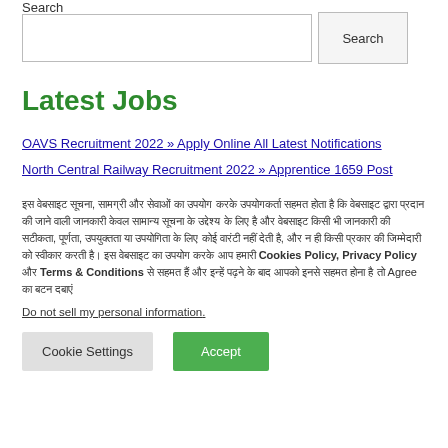Search
[Search input field] [Search button]
Latest Jobs
OAVS Recruitment 2022 » Apply Online All Latest Notifications
North Central Railway Recruitment 2022 » Apprentice 1659 Post
इस वेबसाइट सूचना, सामग्री और सेवाओं का उपयोग करके उपयोगकर्ता सहमत होता है कि वेबसाइट द्वारा प्रदान की जाने वाली जानकारी केवल सामान्य सूचना के उद्देश्य के लिए है और वेबसाइट किसी भी जानकारी की सटीकता, पूर्णता, उपयुक्तता या उपयोगिता के लिए कोई वारंटी नहीं देती है। Cookies Policy, Privacy Policy और Terms & Conditions को पढ़ने के बाद आपको इनसे सहमत होना है तो Agree का बटन दबाएं
Do not sell my personal information.
Cookie Settings
Accept